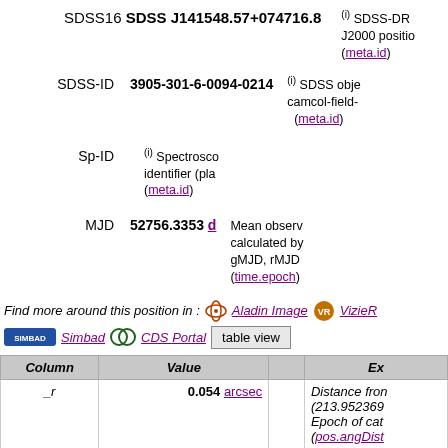SDSS16 SDSS J141548.57+074716.8
(i) SDSS-DR J2000 position (meta.id)
SDSS-ID   3905-301-6-0094-0214
(i) SDSS object camcol-field- (meta.id)
Sp-ID
(i) Spectroscopic identifier (pla (meta.id)
MJD   52756.3353 d
Mean observed calculated by gMJD, rMJD (time.epoch)
Find more around this position in : Aladin Image  VizieR
Simbad  CDS Portal  table view
| Column | Value |  | Ex |
| --- | --- | --- | --- |
| _r | 0.054 arcsec |  | Distance from (213.952369 Epoch of cat (pos.angDist |
| _RAJ2000 | 14 15 48.57397 "h:m:s" |  | Right ascens Equinox=J20 |